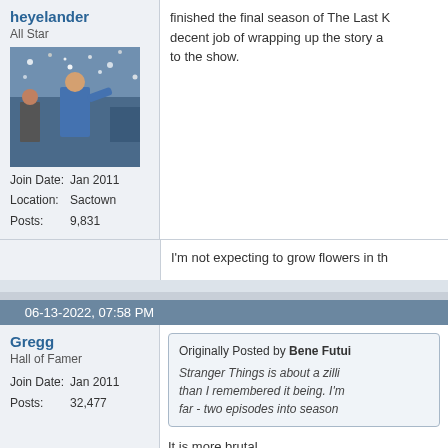heyelander
All Star
[Figure (photo): User avatar photo showing a baseball player celebrating with confetti]
Join Date: Jan 2011
Location: Sactown
Posts: 9,831
finished the final season of The Last K... decent job of wrapping up the story a... to the show.
I'm not expecting to grow flowers in th...
06-13-2022, 07:58 PM
Gregg
Hall of Famer
Join Date: Jan 2011
Posts: 32,477
Originally Posted by Bene Futui... Stranger Things is about a zilli... than I remembered it being. I'r... far - two episodes into season...
It is more brutal.
My 11 year old Grandson: Papa seas...